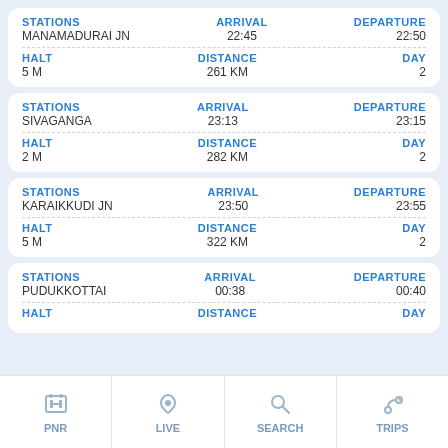| STATIONS | ARRIVAL | DEPARTURE |
| --- | --- | --- |
| MANAMADURAI JN | 22:45 | 22:50 |
| HALT: 5 M | DISTANCE: 261 KM | DAY: 2 |
| STATIONS | ARRIVAL | DEPARTURE |
| --- | --- | --- |
| SIVAGANGA | 23:13 | 23:15 |
| HALT: 2 M | DISTANCE: 282 KM | DAY: 2 |
| STATIONS | ARRIVAL | DEPARTURE |
| --- | --- | --- |
| KARAIKKUDI JN | 23:50 | 23:55 |
| HALT: 5 M | DISTANCE: 322 KM | DAY: 2 |
| STATIONS | ARRIVAL | DEPARTURE |
| --- | --- | --- |
| PUDUKKOTTAI | 00:38 | 00:40 |
| HALT: 2 M | DISTANCE: 362 KM (partial) | DAY: 3 |
[Figure (screenshot): Bottom navigation bar with PNR, LIVE, SEARCH, TRIPS icons]